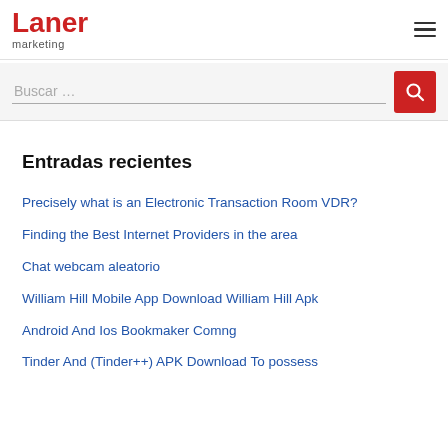[Figure (logo): Laner marketing logo — red bold text 'Laner' with 'marketing' in grey below]
Buscar …
Entradas recientes
Precisely what is an Electronic Transaction Room VDR?
Finding the Best Internet Providers in the area
Chat webcam aleatorio
William Hill Mobile App Download William Hill Apk
Android And Ios Bookmaker Comng
Tinder And (Tinder++) APK Download To possess